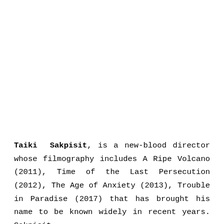Taiki Sakpisit, is a new-blood director whose filmography includes A Ripe Volcano (2011), Time of the Last Persecution (2012), The Age of Anxiety (2013), Trouble in Paradise (2017) that has brought his name to be known widely in recent years. Sakpisit